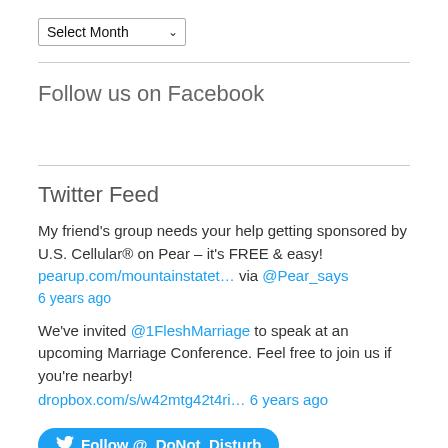[Figure (other): A dropdown/select element labeled 'Select Month' with a down arrow]
Follow us on Facebook
Twitter Feed
My friend's group needs your help getting sponsored by U.S. Cellular® on Pear – it's FREE & easy! pearup.com/mountainstatet… via @Pear_says
6 years ago
We've invited @1FleshMarriage to speak at an upcoming Marriage Conference. Feel free to join us if you're nearby!
dropbox.com/s/w42mtg42t4ri… 6 years ago
[Figure (other): Blue Twitter Follow button: Follow @_DoNot_Disturb]